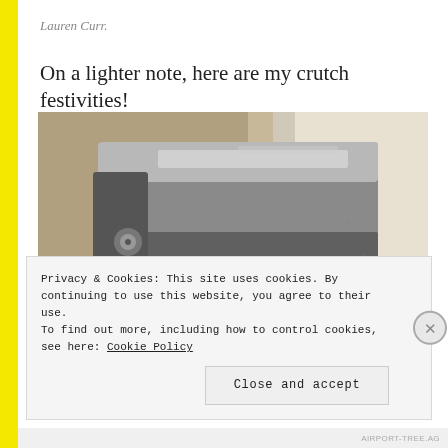Lauren Curr.
On a lighter note, here are my crutch festivities!
[Figure (photo): Close-up photo of a metallic crutch arm support/forearm cuff, silvery-grey in color, photographed from below at an angle against a white/cream wall background. Some red and yellow decorative items are visible at the bottom of the crutch.]
Privacy & Cookies: This site uses cookies. By continuing to use this website, you agree to their use.
To find out more, including how to control cookies, see here: Cookie Policy
Close and accept